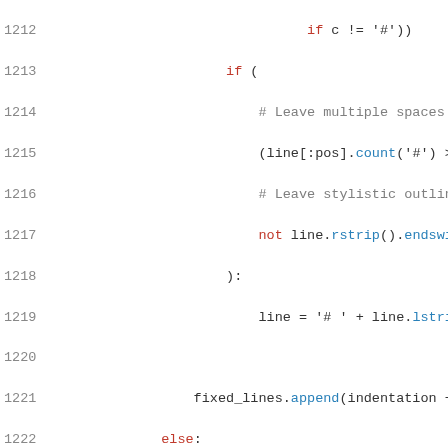[Figure (screenshot): Python source code viewer showing lines 1212-1234, with syntax highlighting: keywords in red, function calls in blue, comments in gray, on white background.]